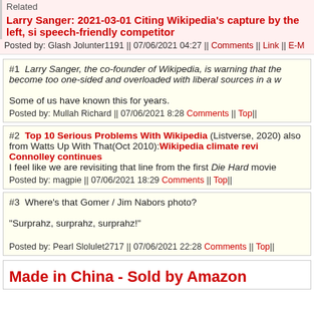Related
Larry Sanger: 2021-03-01 Citing Wikipedia's capture by the left, si speech-friendly competitor
Posted by: Glash Jolunter1191 || 07/06/2021 04:27 || Comments || Link || E-M
#1 Larry Sanger, the co-founder of Wikipedia, is warning that the become too one-sided and overloaded with liberal sources in a w

Some of us have known this for years.
Posted by: Mullah Richard || 07/06/2021 8:28 Comments || Top||
#2 Top 10 Serious Problems With Wikipedia (Listverse, 2020) also from Watts Up With That(Oct 2010): Wikipedia climate revi Connolley continues
I feel like we are revisiting that line from the first Die Hard movie
Posted by: magpie || 07/06/2021 18:29 Comments || Top||
#3 Where's that Gomer / Jim Nabors photo?

"Surprahz, surprahz, surprahz!"

Posted by: Pearl Slolulet2717 || 07/06/2021 22:28 Comments || Top||
Made in China - Sold by Amazon